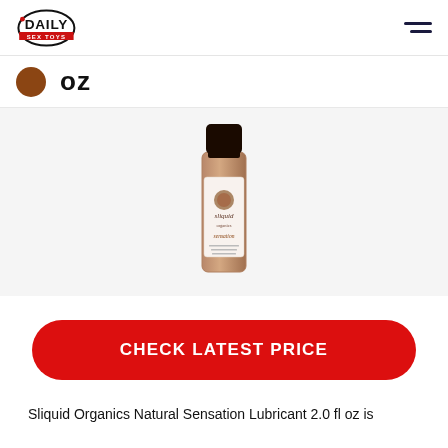[Figure (logo): Daily Sex Toys logo — circular badge with 'DAILY' text and 'SEX TOYS' in red ribbon]
oz
[Figure (photo): Sliquid Organics Natural Sensation lubricant bottle, 2 fl oz, amber glass bottle with white label, black cap]
CHECK LATEST PRICE
Sliquid Organics Natural Sensation Lubricant 2.0 fl oz is